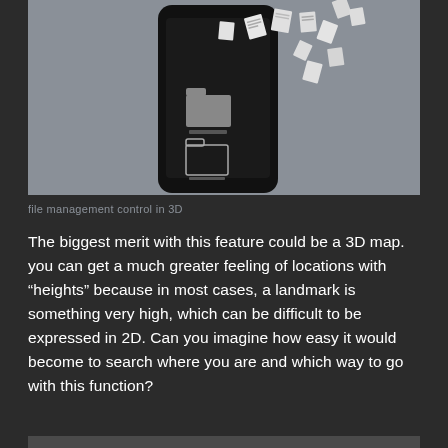[Figure (photo): A 3D rendered black smartphone with file folder icons and document pages floating/flying out of the screen against a gray background, illustrating file management control in 3D.]
file management control in 3D
The biggest merit with this feature could be a 3D map. you can get a much greater feeling of locations with "heights" because in most cases, a landmark is something very high, which can be difficult to be expressed in 2D. Can you imagine how easy it would become to search where you are and which way to go with this function?